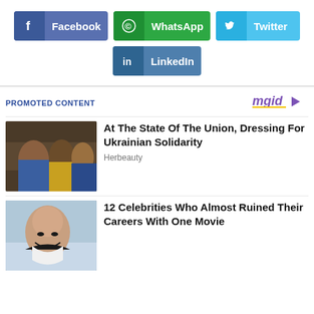[Figure (other): Social share buttons: Facebook, WhatsApp, Twitter, LinkedIn]
PROMOTED CONTENT
[Figure (logo): mgid logo with play icon]
[Figure (photo): Group of people taking selfie in formal setting]
At The State Of The Union, Dressing For Ukrainian Solidarity
Herbeauty
[Figure (photo): Celebrity with shocked expression]
12 Celebrities Who Almost Ruined Their Careers With One Movie